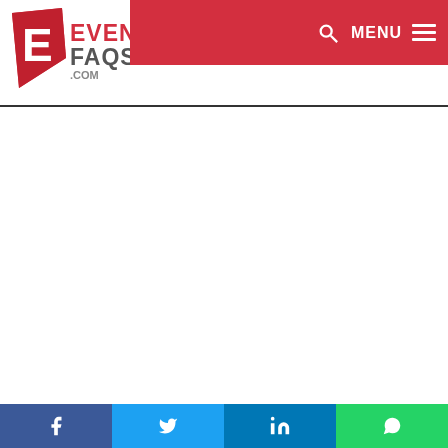[Figure (logo): EventFaqs.com logo with red diamond shape and white E, with EVENT FAQS .COM text in dark gray/red]
MENU
Facebook | Twitter | LinkedIn | WhatsApp social share buttons